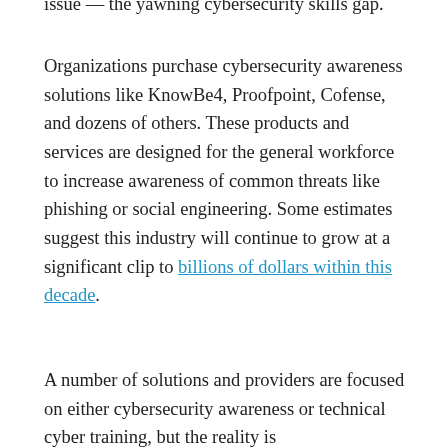issue — the yawning cybersecurity skills gap.
Organizations purchase cybersecurity awareness solutions like KnowBe4, Proofpoint, Cofense, and dozens of others. These products and services are designed for the general workforce to increase awareness of common threats like phishing or social engineering. Some estimates suggest this industry will continue to grow at a significant clip to billions of dollars within this decade.
A number of solutions and providers are focused on either cybersecurity awareness or technical cyber training, but the reality is